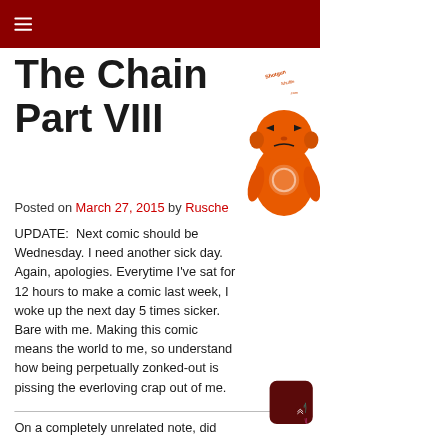≡
The Chain Part VIII
Posted on March 27, 2015 by Rusche
UPDATE:  Next comic should be Wednesday. I need another sick day. Again, apologies. Everytime I've sat for 12 hours to make a comic last week, I woke up the next day 5 times sicker. Bare with me. Making this comic means the world to me, so understand how being perpetually zonked-out is pissing the everloving crap out of me.
[Figure (illustration): Orange cartoon character mascot on the right side of the page]
[Figure (illustration): Scroll-to-top button with chevron arrows, dark red rounded square, with teal/pink decorative elements]
On a completely unrelated note, did